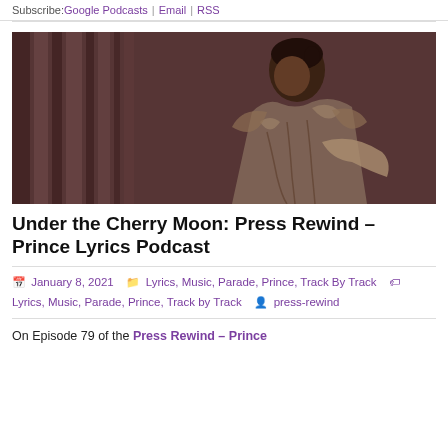Subscribe: Google Podcasts | Email | RSS
[Figure (photo): Sepia-toned photograph of a person leaning against a striped curtain or fabric, wearing an ornate jacket, in a dramatic pose.]
Under the Cherry Moon: Press Rewind – Prince Lyrics Podcast
January 8, 2021   Lyrics, Music, Parade, Prince, Track By Track   Lyrics, Music, Parade, Prince, Track by Track   press-rewind
On Episode 79 of the Press Rewind – Prince